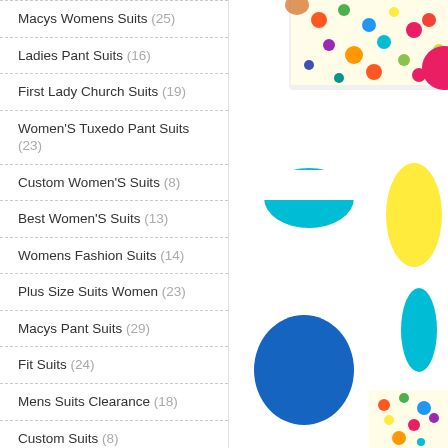Macys Womens Suits (25)
Ladies Pant Suits (16)
First Lady Church Suits (19)
Women'S Tuxedo Pant Suits (23)
Custom Women'S Suits (8)
Best Women'S Suits (13)
Womens Fashion Suits (14)
Plus Size Suits Women (23)
Macys Pant Suits (29)
Fit Suits (24)
Mens Suits Clearance (18)
Custom Suits (8)
Tailored Suits (11)
Formal Suits (17)
Tailor Made Suits (6)
[Figure (photo): Decorative product image with colorful polka dot pattern clothing and colorful circle/oval shapes on white background]